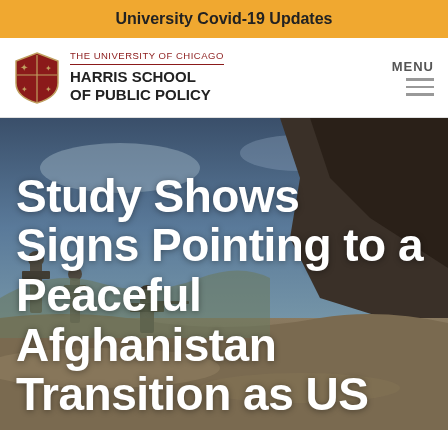University Covid-19 Updates
[Figure (logo): University of Chicago Harris School of Public Policy logo with shield and navigation menu button]
[Figure (photo): Military soldiers in a mountainous desert landscape with a dark, dramatic sky — background hero image]
Study Shows Signs Pointing to a Peaceful Afghanistan Transition as US